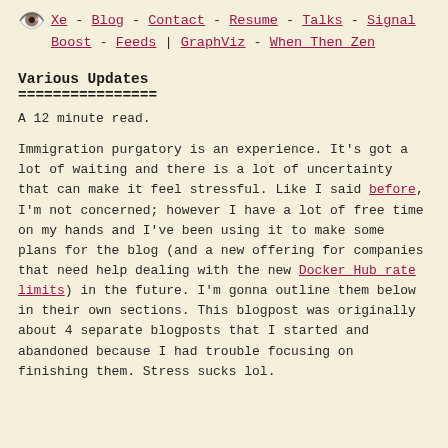Xe - Blog - Contact - Resume - Talks - Signal Boost - Feeds | GraphViz - When Then Zen
Various Updates
================
A 12 minute read.
Immigration purgatory is an experience. It's got a lot of waiting and there is a lot of uncertainty that can make it feel stressful. Like I said before, I'm not concerned; however I have a lot of free time on my hands and I've been using it to make some plans for the blog (and a new offering for companies that need help dealing with the new Docker Hub rate limits) in the future. I'm gonna outline them below in their own sections. This blogpost was originally about 4 separate blogposts that I started and abandoned because I had trouble focusing on finishing them. Stress sucks lol.